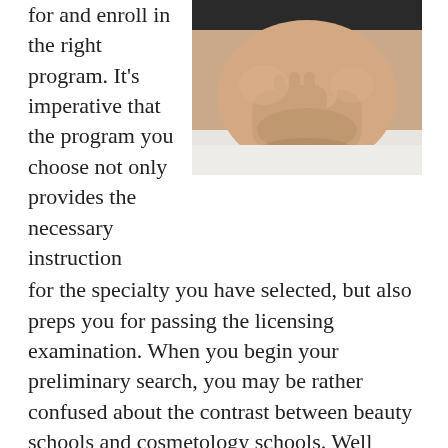for and enroll in the right program. It's imperative that the program you choose not only provides the necessary instruction for the specialty you have selected, but also preps you for passing the licensing examination. When you begin your preliminary search, you may be rather confused about the contrast between beauty schools and cosmetology schools. Well don't be, because the titles are essentially interchangeable and both refer to the same kind of school. We'll talk a little bit more regarding that in the upcoming section. If you intend on commuting to classes you will want to choose a school that is within driving distance of your Eldridge home. Tuition will additionally be an important aspect when reviewing possible schools. Just remember that because a school is the closest or the least expensive it's not always the ideal choice. There are several other qualifications that you should weigh when analyzing schools, for instance
[Figure (photo): Close-up photo of a person lying down with hands crossed near their chin/neck area, appearing relaxed or receiving a facial treatment.]